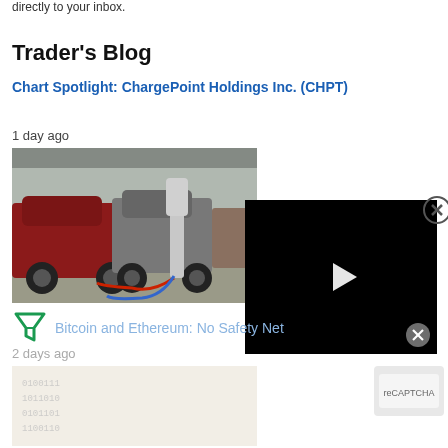directly to your inbox.
Trader's Blog
Chart Spotlight: ChargePoint Holdings Inc. (CHPT)
1 day ago
[Figure (photo): Electric vehicles plugged into ChargePoint charging stations in a parking lot, showing red and blue charging cables]
[Figure (screenshot): Black video player overlay with play button triangle in center and close button]
[Figure (logo): Filter/funnel icon in teal/green color]
Bitcoin and Ethereum: No Safety Net
2 days ago
[Figure (photo): Partially visible image related to cryptocurrency article, faded/ghosted]